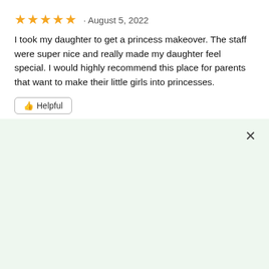★★★★★ · August 5, 2022
I took my daughter to get a princess makeover. The staff were super nice and really made my daughter feel special. I would highly recommend this place for parents that want to make their little girls into princesses.
👍 Helpful
[Figure (screenshot): Light green background panel with a close (X) button in the top right corner]